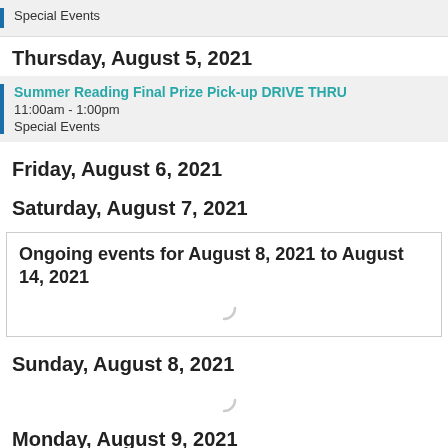Special Events
Thursday, August 5, 2021
Summer Reading Final Prize Pick-up DRIVE THRU
11:00am - 1:00pm
Special Events
Friday, August 6, 2021
Saturday, August 7, 2021
Ongoing events for August 8, 2021 to August 14, 2021
Sunday, August 8, 2021
Monday, August 9, 2021